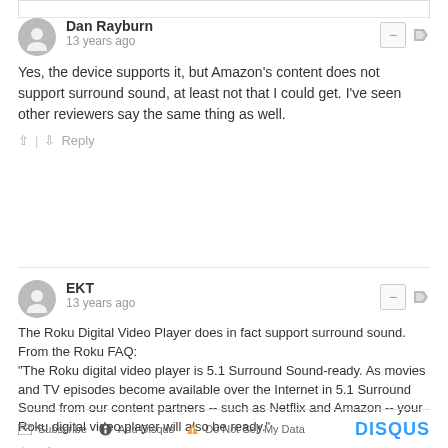Dan Rayburn
13 years ago
Yes, the device supports it, but Amazon's content does not support surround sound, at least not that I could get. I've seen other reviewers say the same thing as well.
↑ | ↓  Reply
EKT
13 years ago
The Roku Digital Video Player does in fact support surround sound. From the Roku FAQ:
"The Roku digital video player is 5.1 Surround Sound-ready. As movies and TV episodes become available over the Internet in 5.1 Surround Sound from our content partners -- such as Netflix and Amazon -- your Roku digital video player will also be ready."
↑ | ↓  Reply
Subscribe  Add Disqus  Do Not Sell My Data  DISQUS